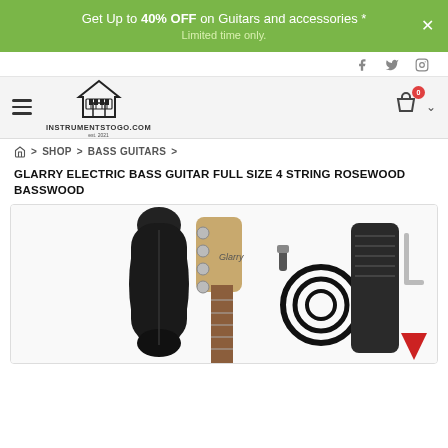Get Up to 40% OFF on Guitars and accessories * Limited time only.
[Figure (screenshot): Social media icons: Facebook, Twitter, Instagram]
[Figure (logo): InstrumentsToGo.com logo with house/piano icon, hamburger menu, and shopping cart with 0 badge]
⌂ > SHOP > BASS GUITARS >
GLARRY ELECTRIC BASS GUITAR FULL SIZE 4 STRING ROSEWOOD BASSWOOD
[Figure (photo): Product photo showing Glarry electric bass guitar with gig bag, cable, strap, allen wrench, and pick accessories]